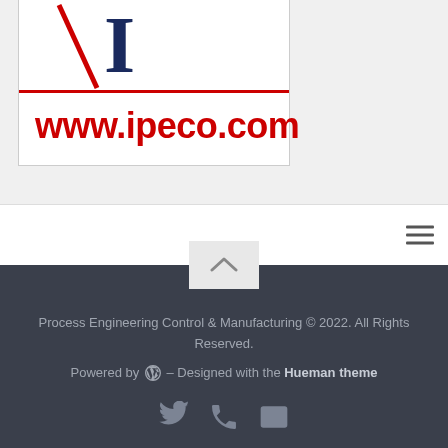[Figure (logo): IPECO logo with red slash and letter I, red horizontal line, and red bold www.ipeco.com URL text on white background]
[Figure (screenshot): Hamburger menu icon (three horizontal lines) on white navigation bar]
Process Engineering Control & Manufacturing © 2022. All Rights Reserved.
Powered by WordPress – Designed with the Hueman theme